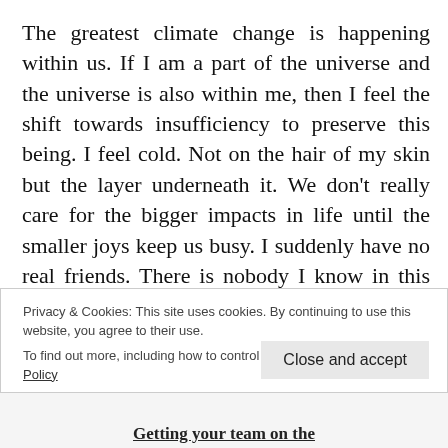The greatest climate change is happening within us. If I am a part of the universe and the universe is also within me, then I feel the shift towards insufficiency to preserve this being. I feel cold. Not on the hair of my skin but the layer underneath it. We don't really care for the bigger impacts in life until the smaller joys keep us busy. I suddenly have no real friends. There is nobody I know in this world. Or maybe I am still to meet people. The only person I am acquainted and conversant with is the security guard at the mall who frisks me on
Privacy & Cookies: This site uses cookies. By continuing to use this website, you agree to their use.
To find out more, including how to control cookies, see here: Cookie Policy
Close and accept
Getting your team on the